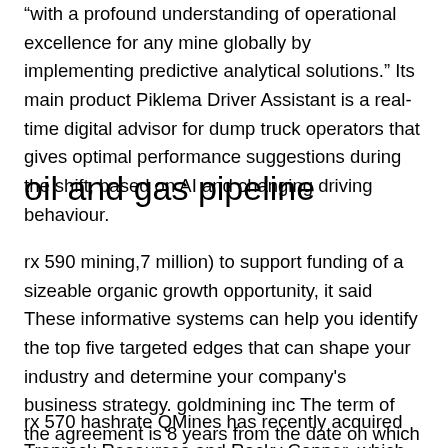“with a profound understanding of operational excellence for any mine globally by implementing predictive analytical solutions.” Its main product Piklema Driver Assistant is a real-time digital advisor for dump truck operators that gives optimal performance suggestions during the shift, based on AI and changing driving behaviour.
oil and gas pipeline
rx 590 mining,7 million) to support funding of a sizeable organic growth opportunity, it said These informative systems can help you identify the top five targeted edges that can shape your industry and determine your company's business strategy. goldmining inc The term of the agreement is 8 years from the date on which the last PWR BLOK achieves commercial operation, with an option for the Glencore Merafe Venture to extend the term by 7 years S.
rx 570 hashrate QMines has recently acquired Traprock Resources and Rocky Copper, which both held significant